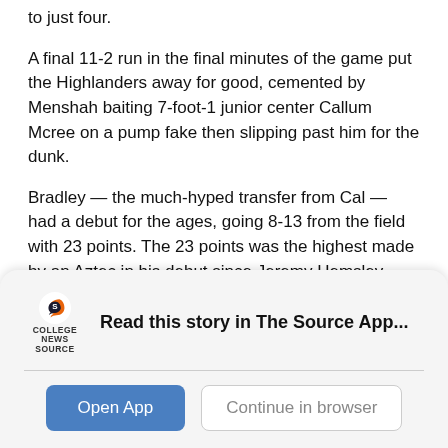to just four.
A final 11-2 run in the final minutes of the game put the Highlanders away for good, cemented by Menshah baiting 7-foot-1 junior center Callum Mcree on a pump fake then slipping past him for the dunk.
Bradley — the much-hyped transfer from Cal — had a debut for the ages, going 8-13 from the field with 23 points. The 23 points was the highest made by an Aztec in his debut since Jeremy Hemsley dropped 20 points against Illinois State on Nov. 13, 2015.
While he admitted it was a good game, Bradley felt
[Figure (logo): College News Source logo with stylized S icon and text 'COLLEGE NEWS SOURCE']
Read this story in The Source App...
Open App
Continue in browser